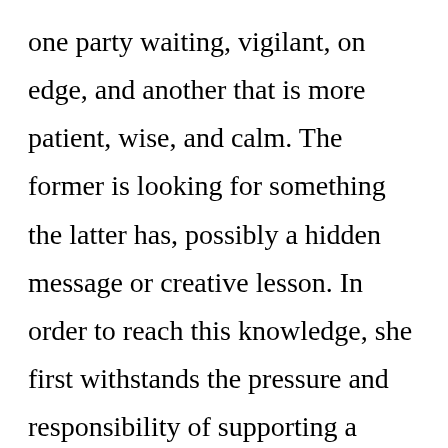one party waiting, vigilant, on edge, and another that is more patient, wise, and calm. The former is looking for something the latter has, possibly a hidden message or creative lesson. In order to reach this knowledge, she first withstands the pressure and responsibility of supporting a community of people, which only makes her a target in his eyes. He comes to see how she's worked up her courage and focuses on her sense of self to outclass any temptation he could distract her with. But he doesn't let any trick go